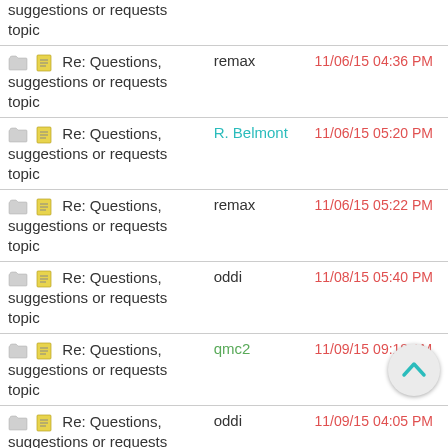| Topic | Author | Date/Time |
| --- | --- | --- |
| Re: Questions, suggestions or requests topic | remax | 11/06/15 04:36 PM |
| Re: Questions, suggestions or requests topic | R. Belmont | 11/06/15 05:20 PM |
| Re: Questions, suggestions or requests topic | remax | 11/06/15 05:22 PM |
| Re: Questions, suggestions or requests topic | oddi | 11/08/15 05:40 PM |
| Re: Questions, suggestions or requests topic | qmc2 | 11/09/15 09:18 AM |
| Re: Questions, suggestions or requests topic | oddi | 11/09/15 04:05 PM |
| Re: Questions, suggestions or requests topic | qmc2 | 11/09/15 04:13 PM |
| Re: Questions, suggestions or requests topic | ManiacOfMadness | 11/28/15 01:30 PM |
| Re: Questions, suggestions or requests topic | qmc2 | 11/28/15 02:13 PM |
| Re: Questions, suggestions or requests topic | Shideravan | 11/29/15 09:40 PM |